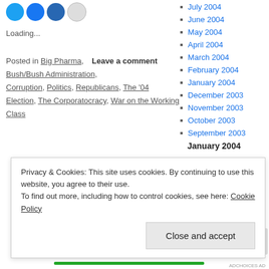[Figure (other): Social sharing icons: Twitter (blue), Facebook (blue), LinkedIn (dark blue), Email (grey)]
Loading...
Posted in Big Pharma, Bush/Bush Administration, Corruption, Politics, Republicans, The '04 Election, The Corporatocracy, War on the Working Class
Leave a comment
July 2004
June 2004
May 2004
April 2004
March 2004
February 2004
January 2004
December 2003
November 2003
October 2003
September 2003
January 2004
Privacy & Cookies: This site uses cookies. By continuing to use this website, you agree to their use. To find out more, including how to control cookies, see here: Cookie Policy
Close and accept